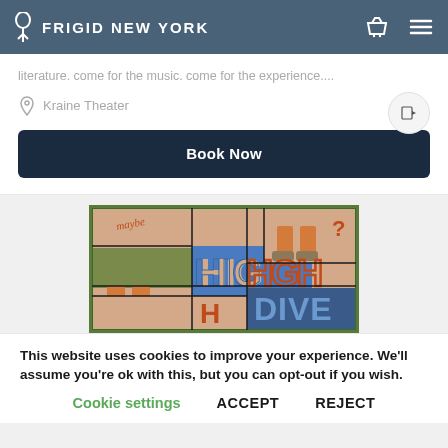FRIGID NEW YORK
literature. come for the music. come for the experience....
Kraine Theater
Book Now
[Figure (illustration): Colorful comic-style illustration showing 'HIGH DIVE' text with stylized figures and panels in blue, orange, green and peach colors]
This website uses cookies to improve your experience. We'll assume you're ok with this, but you can opt-out if you wish.
Cookie settings   ACCEPT   REJECT